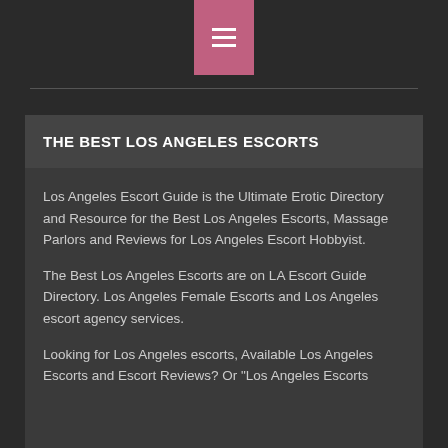☰
THE BEST LOS ANGELES ESCORTS
Los Angeles Escort Guide is the Ultimate Erotic Directory and Resource for the Best Los Angeles Escorts, Massage Parlors and Reviews for Los Angeles Escort Hobbyist.
The Best Los Angeles Escorts are on LA Escort Guide Directory. Los Angeles Female Escorts and Los Angeles escort agency services.
Looking for Los Angeles escorts, Available Los Angeles Escorts and Escort Reviews? Or "Los Angeles Escorts